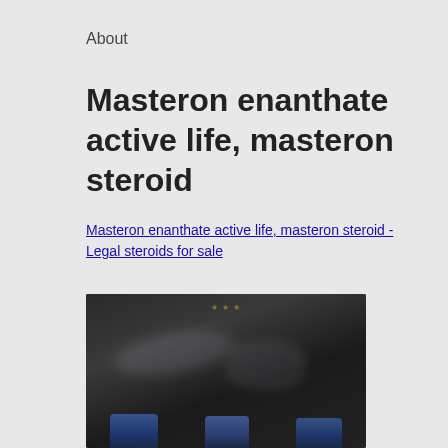About
Masteron enanthate active life, masteron steroid
Masteron enanthate active life, masteron steroid - Legal steroids for sale
[Figure (photo): Blurred dark photo showing what appear to be supplement or steroid bottles/vials at the bottom, with blurred shapes in the upper portion against a dark background]